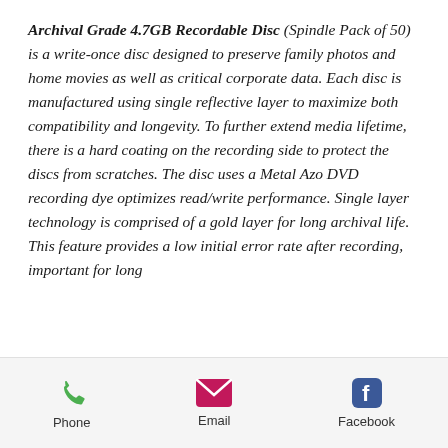Archival Grade 4.7GB Recordable Disc (Spindle Pack of 50) is a write-once disc designed to preserve family photos and home movies as well as critical corporate data. Each disc is manufactured using single reflective layer to maximize both compatibility and longevity. To further extend media lifetime, there is a hard coating on the recording side to protect the discs from scratches. The disc uses a Metal Azo DVD recording dye optimizes read/write performance. Single layer technology is comprised of a gold layer for long archival life. This feature provides a low initial error rate after recording, important for long
Phone   Email   Facebook